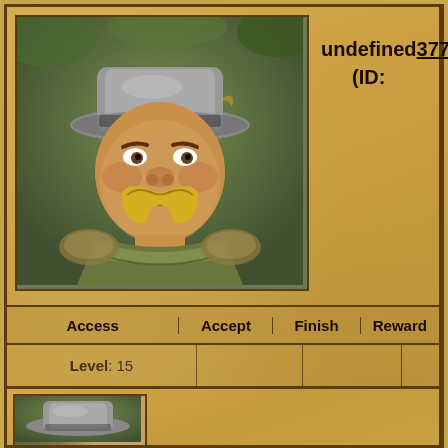undefined (ID: 3779)
| Access | Accept | Finish | Reward |
| --- | --- | --- | --- |
| Level: 15
Solve quest: Angus McGuffin (Trade exchange) (ID:3331)
[potion item x1]
After finishing the quest undefined (Trade exchange) (ID:3780) you must wait 1 day. | Place: Angus McGuffin | - | - |
[Figure (illustration): Portrait of a heavyset man with a grey cowboy hat, yellow horseshoe mustache, wearing green/yellow armor, set against a jungle background]
[Figure (illustration): Purple/pink potion bottle with yellow diagonal stripe badge showing 'IN', quantity 1]
[Figure (illustration): Partial second quest card showing another character portrait with grey cowboy hat, partially visible at bottom of page]